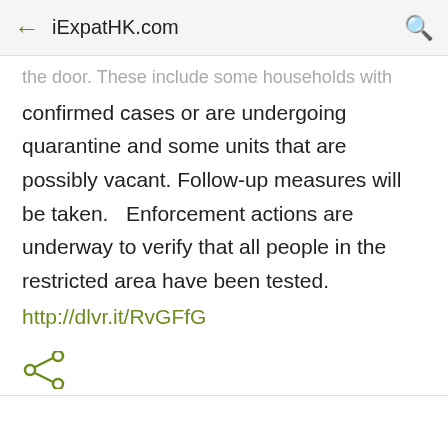← iExpatHK.com 🔍
the door. These include some households with confirmed cases or are undergoing quarantine and some units that are possibly vacant. Follow-up measures will be taken.   Enforcement actions are underway to verify that all people in the restricted area have been tested.
http://dlvr.it/RvGFfG
[Figure (illustration): Share icon (three dots connected by lines)]